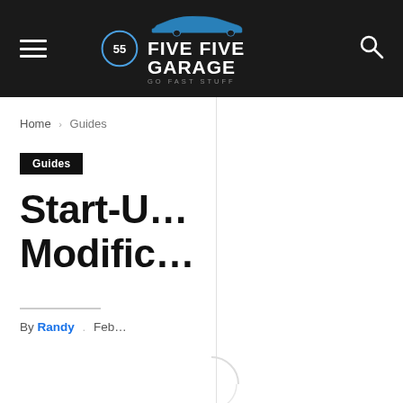Five Five Garage — Go Fast Stuff
Home › Guides
Guides
Start-Up Modifications
By Randy . Feb